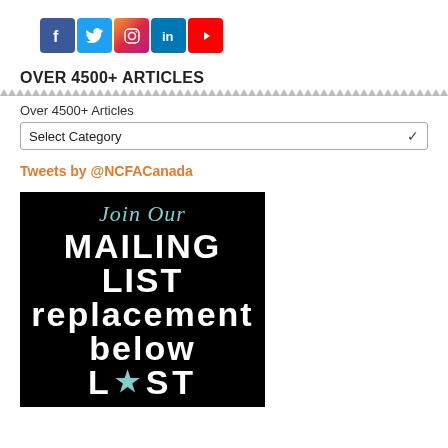[Figure (infographic): Social media icons row: Facebook (blue), Twitter (light blue), Instagram (gradient), LinkedIn (blue), YouTube (red)]
OVER 4500+ ARTICLES
Over 4500+ Articles
Select Category
Tweets by @NCFACanada
[Figure (illustration): Black background promotional image with teal italic text 'Join Our' and large bold white text 'MAILING LIST' with a teal star replacing the 'I' in LIST]